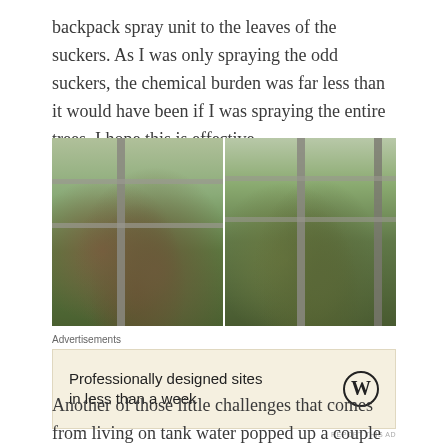backpack spray unit to the leaves of the suckers.  As I was only spraying the odd suckers, the chemical burden was far less than it would have been if I was spraying the entire trees.  I hope this is effective.
[Figure (photo): Two side-by-side photos of dead/dying plant suckers at the base of a wooden fence post, taken outdoors on grass. Left photo shows brown dried plant material; right photo shows similar plant material slightly more green.]
Advertisements
Professionally designed sites in less than a week
REPORT THIS AD
Another of those little challenges that comes from living on tank water popped up a couple of weeks ago.  Our